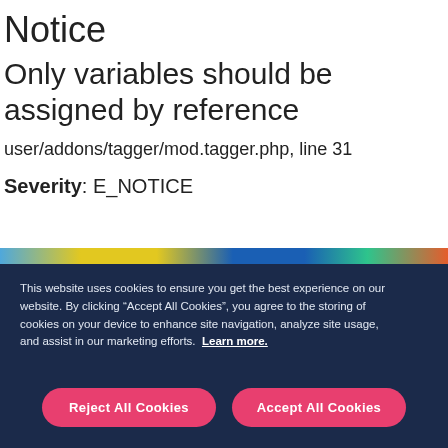Notice
Only variables should be assigned by reference
user/addons/tagger/mod.tagger.php, line 31
Severity: E_NOTICE
[Figure (screenshot): Colorful website banner background with AT&T and other logos visible]
This website uses cookies to ensure you get the best experience on our website. By clicking “Accept All Cookies”, you agree to the storing of cookies on your device to enhance site navigation, analyze site usage, and assist in our marketing efforts. Learn more.
Reject All Cookies
Accept All Cookies